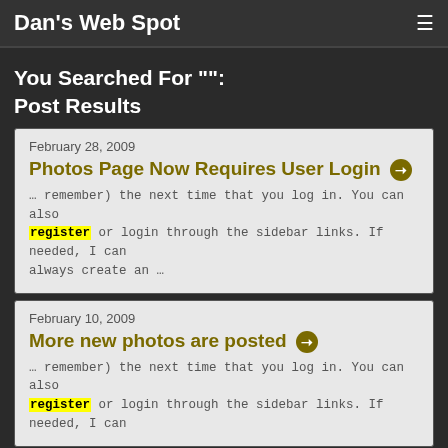Dan's Web Spot
You Searched For "":
Post Results
February 28, 2009
Photos Page Now Requires User Login
… remember) the next time that you log in. You can also register or login through the sidebar links. If needed, I can always create an …
February 10, 2009
More new photos are posted
… remember) the next time that you log in. You can also register or login through the sidebar links. If needed, I can